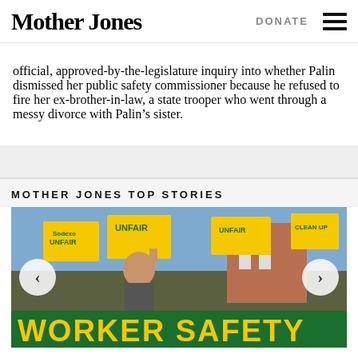Mother Jones | DONATE
official, approved-by-the-legislature inquiry into whether Palin dismissed her public safety commissioner because he refused to fire her ex-brother-in-law, a state trooper who went through a messy divorce with Palin’s sister.
MOTHER JONES TOP STORIES
[Figure (photo): Protest scene with workers holding green and yellow 'WORKER SAFETY' banner and yellow 'UNFAIR' signs, crowd with fists raised]